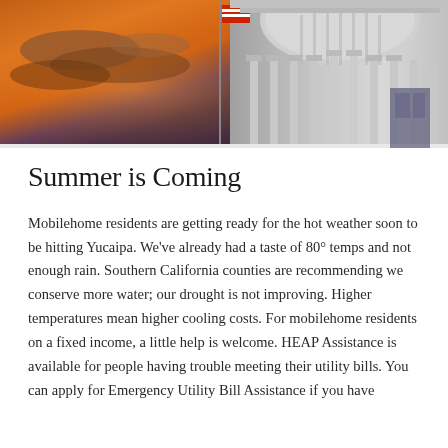[Figure (photo): Photo of a government capitol building dome with classical columns, set against a dramatic orange and dark purple sunset sky. A flag is visible in the upper portion.]
Summer is Coming
Mobilehome residents are getting ready for the hot weather soon to be hitting Yucaipa. We've already had a taste of 80° temps and not enough rain. Southern California counties are recommending we conserve more water; our drought is not improving. Higher temperatures mean higher cooling costs. For mobilehome residents on a fixed income, a little help is welcome. HEAP Assistance is available for people having trouble meeting their utility bills. You can apply for Emergency Utility Bill Assistance if you have